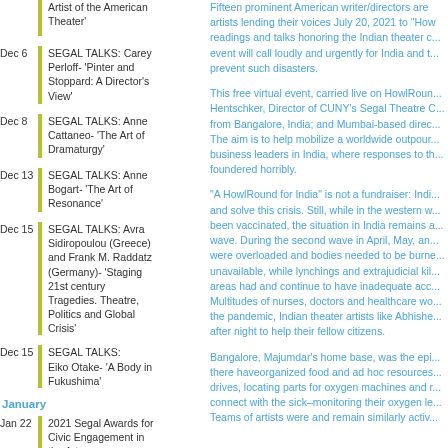Artist of the American Theater'
Dec 6 | SEGAL TALKS: Carey Perloff- 'Pinter and Stoppard: A Director's View'
Dec 8 | SEGAL TALKS: Anne Cattaneo- 'The Art of Dramaturgy'
Dec 13 | SEGAL TALKS: Anne Bogart- 'The Art of Resonance'
Dec 15 | SEGAL TALKS: Avra Sidiropoulou (Greece) and Frank M. Raddatz (Germany)- 'Staging 21st century Tragedies. Theatre, Politics and Global Crisis'
Dec 15 | SEGAL TALKS: Eiko Otake- 'A Body in Fukushima'
January
Jan 22 | 2021 Segal Awards for Civic Engagement in the Arts
Fifteen prominent American writer/directors are artists lending their voices July 20, 2021 to "How... readings and talks honoring the Indian theater c... event will call loudly and urgently for India and t... prevent such disasters.
This free virtual event, carried live on HowlRoun... Hentschker, Director of CUNY's Segal Theatre C... from Bangalore, India; and Mumbai-based direc... The aim is to help mobilize a worldwide outpour... business leaders in India, where responses to th... foundered horribly.
"A HowlRound for India" is not a fundraiser: Indi... and solve this crisis. Still, while in the western w... been vaccinated, the situation in India remains a... wave. During the second wave in April, May, an... were overloaded and bodies needed to be burne... unavailable, while lynchings and extrajudicial kil... areas had and continue to have inadequate acc... Multitudes of nurses, doctors and healthcare wo... the pandemic, Indian theater artists like Abhishe... after night to help their fellow citizens.
Bangalore, Majumdar's home base, was the epi... there haveorganized food and ad hoc resources... drives, locating parts for oxygen machines and r... connect with the sick–monitoring their oxygen le... Teams of artists were and remain similarly activ...